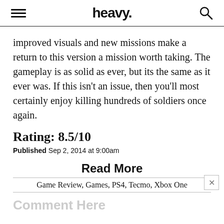heavy.
improved visuals and new missions make a return to this version a mission worth taking. The gameplay is as solid as ever, but its the same as it ever was. If this isn't an issue, then you'll most certainly enjoy killing hundreds of soldiers once again.
Rating: 8.5/10
Published Sep 2, 2014 at 9:00am
Read More
Game Review, Games, PS4, Tecmo, Xbox One
Comment Here